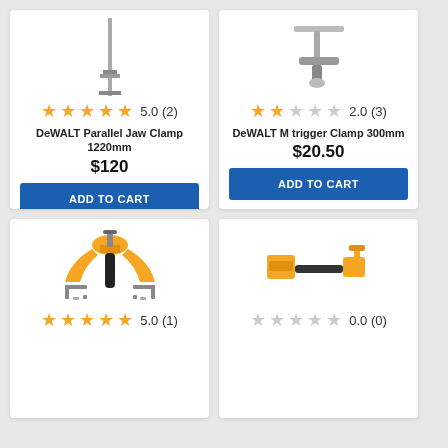[Figure (photo): DeWALT Parallel Jaw Clamp 1220mm product image - tall narrow clamp]
5.0 (2)
DeWALT Parallel Jaw Clamp 1220mm
$120
ADD TO CART
[Figure (photo): DeWALT M trigger Clamp 300mm product image]
2.0 (3)
DeWALT M trigger Clamp 300mm
$20.50
ADD TO CART
[Figure (photo): DeWALT corner clamp kit product image - yellow clamp set]
5.0 (1)
[Figure (photo): DeWALT pipe clamp product image - yellow pipe clamp set]
0.0 (0)